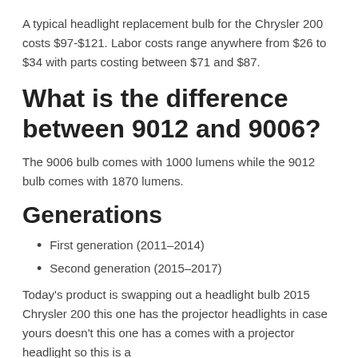A typical headlight replacement bulb for the Chrysler 200 costs $97-$121. Labor costs range anywhere from $26 to $34 with parts costing between $71 and $87.
What is the difference between 9012 and 9006?
The 9006 bulb comes with 1000 lumens while the 9012 bulb comes with 1870 lumens.
Generations
First generation (2011–2014)
Second generation (2015–2017)
Today's product is swapping out a headlight bulb 2015 Chrysler 200 this one has the projector headlights in case yours doesn't this one has a comes with a projector headlight so this is a...